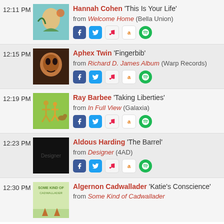12:11 PM — Hannah Cohen 'This Is Your Life' from Welcome Home (Bella Union)
12:15 PM — Aphex Twin 'Fingerbib' from Richard D. James Album (Warp Records)
12:19 PM — Ray Barbee 'Taking Liberties' from In Full View (Galaxia)
12:23 PM — Aldous Harding 'The Barrel' from Designer (4AD)
12:30 PM — Algernon Cadwallader 'Katie's Conscience' from Some Kind of Cadwallader